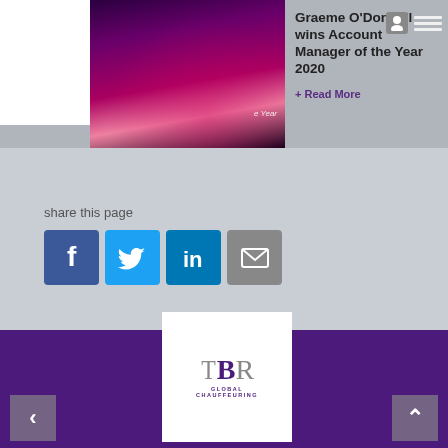[Figure (logo): TBR Global Chauffeuring logo (top left header)]
[Figure (photo): Purple/pink award event image with stage lighting]
Graeme O'Donnell wins Account Manager of the Year 2020
+ Read More
share this page
[Figure (infographic): Social share buttons: Facebook, Twitter, LinkedIn, Email]
[Figure (logo): TBR Global Chauffeuring logo (footer card)]